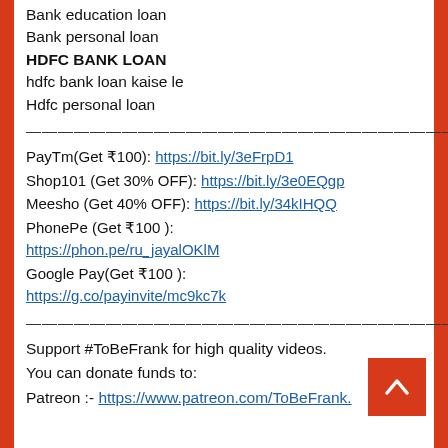Bank education loan
Bank personal loan
HDFC BANK LOAN
hdfc bank loan kaise le
Hdfc personal loan
————————————————————————
PayTm(Get ₹100): https://bit.ly/3eFrpD1
Shop101 (Get 30% OFF): https://bit.ly/3e0EQgp
Meesho (Get 40% OFF): https://bit.ly/34kIHQQ
PhonePe (Get ₹100 ): https://phon.pe/ru_jayalOKlM
Google Pay(Get ₹100 ): https://g.co/payinvite/mc9kc7k
————————————————————————
Support #ToBeFrank for high quality videos. You can donate funds to:
Patreon :- https://www.patreon.com/ToBeFrank.